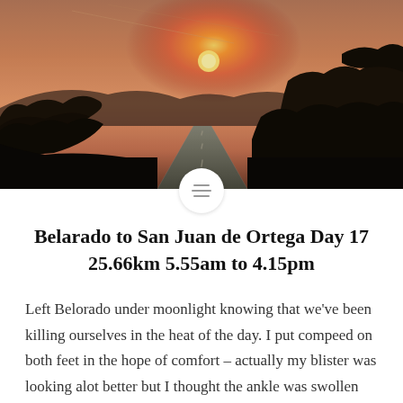[Figure (photo): Sunset photo of a rural road stretching into the distance, flanked by dark silhouetted trees and bushes, with a glowing orange and pink sky and a mountain or hill in the background.]
Belarado to San Juan de Ortega Day 17 25.66km 5.55am to 4.15pm
Left Belorado under moonlight knowing that we've been killing ourselves in the heat of the day. I put compeed on both feet in the hope of comfort – actually my blister was looking alot better but I thought the ankle was swollen and it may have been twisted through compensating for the